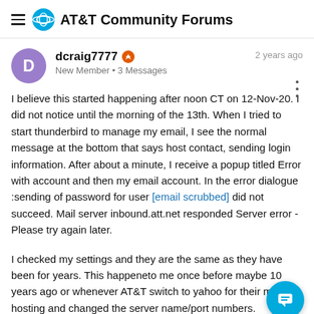AT&T Community Forums
dcraig7777
New Member • 3 Messages
2 years ago
I believe this started happening after noon CT on 12-Nov-20. I did not notice until the morning of the 13th. When I tried to start thunderbird to manage my email, I see the normal message at the bottom that says host contact, sending login information. After about a minute, I receive a popup titled Error with account and then my email account. In the error dialogue :sending of password for user [email scrubbed] did not succeed. Mail server inbound.att.net responded Server error - Please try again later.
I checked my settings and they are the same as they have been for years. This happeneto me once before maybe 10 years ago or whenever AT&T switch to yahoo for their mail hosting and changed the server name/port numbers.